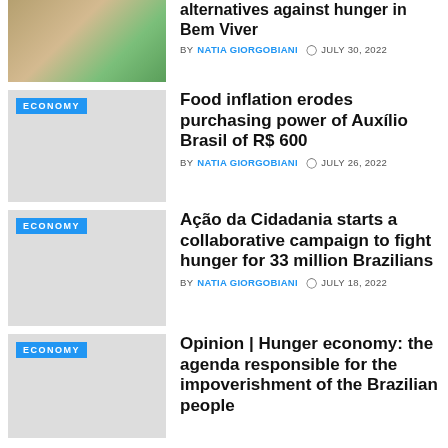[Figure (photo): Photo of people, partial top view]
Agroforestry and alternatives against hunger in Bem Viver
BY NATIA GIORGOBIANI   JULY 30, 2022
[Figure (photo): Gray placeholder thumbnail with ECONOMY tag]
Food inflation erodes purchasing power of Auxílio Brasil of R$ 600
BY NATIA GIORGOBIANI   JULY 26, 2022
[Figure (photo): Gray placeholder thumbnail with ECONOMY tag]
Ação da Cidadania starts a collaborative campaign to fight hunger for 33 million Brazilians
BY NATIA GIORGOBIANI   JULY 18, 2022
[Figure (photo): Gray placeholder thumbnail with ECONOMY tag]
Opinion | Hunger economy: the agenda responsible for the impoverishment of the Brazilian people